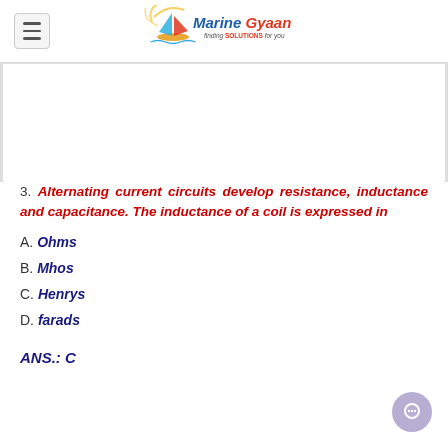Marine Gyaan - finding SOLUTIONS for you
3. Alternating current circuits develop resistance, inductance and capacitance. The inductance of a coil is expressed in
A. Ohms
B. Mhos
C. Henrys
D. farads
ANS.: C